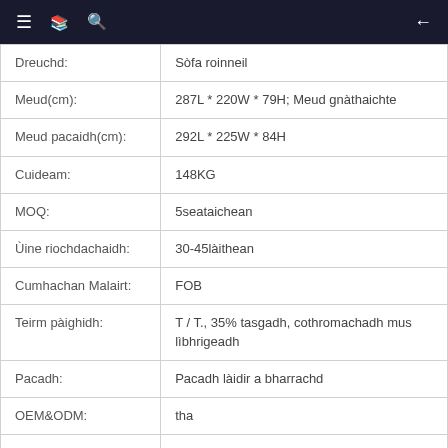≡ 📖 🔍  ←
| Dreuchd: | Sòfa roinneil |
| Meud(cm): | 287L * 220W * 79H; Meud gnàthaichte |
| Meud pacaidh(cm): | 292L * 225W * 84H |
| Cuideam: | 148KG |
| MOQ: | 5seataichean |
| Ùine riochdachaidh: | 30-45làithean |
| Cumhachan Malairt: | FOB |
| Teirm pàighidh: | T / T., 35% tasgadh, cothromachadh mus lìbhrigeadh |
| Pacadh: | Pacadh làidir a bharrachd |
| OEM&ODM: | tha |
| Barantas: | 2 barantas bliadhna airson structar a-staigh, 1 bliadhna airson leathar gràin aniline agus mullach |